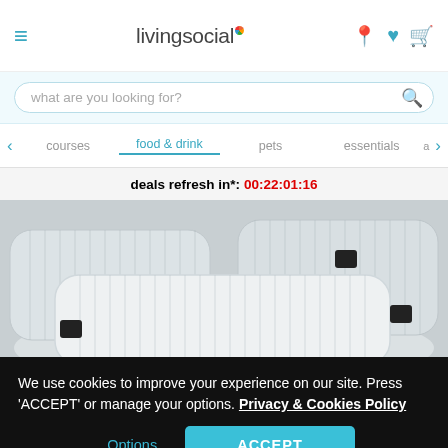livingsocial
what are you looking for?
courses  food & drink  pets  essentials
deals refresh in*: 00:22:01:16
[Figure (photo): Stack of white striped pillows/cushions piled on top of each other, each with a small black label tag, on a light grey background]
We use cookies to improve your experience on our site. Press 'ACCEPT' or manage your options. Privacy & Cookies Policy
Options
ACCEPT